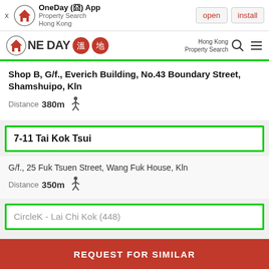[Figure (screenshot): App install banner for OneDay App - Property Search Hong Kong with open and install buttons]
[Figure (logo): OneDay Property Search Hong Kong logo with red house icon, NE DAY text, and two Chinese character badges]
Shop B, G/f., Everich Building, No.43 Boundary Street, Shamshuipo, Kln
Distance 380m
7-11 Tai Kok Tsui
G/f., 25 Fuk Tsuen Street, Wang Fuk House, Kln
Distance 350m
CircleK - Lai Chi Kok (448)
REQUEST FOR SIMILAR